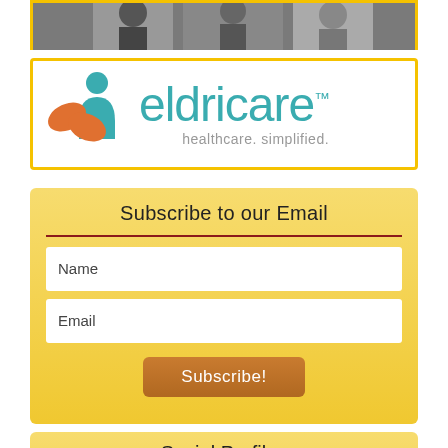[Figure (photo): Top banner photo of people (partially visible)]
[Figure (logo): Eldricare logo with teal and orange icon and teal 'eldricare' text with tagline 'healthcare. simplified.']
Subscribe to our Email
Name
Email
Subscribe!
Social Profiles
[Figure (illustration): Facebook and YouTube social media icons]